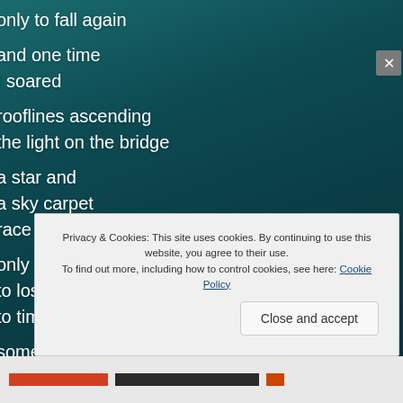only to fall again

and one time
I soared

rooflines ascending
the light on the bridge

a star and
a sky carpet
race

only
to lose
to time

somewhere
it's rain
Privacy & Cookies: This site uses cookies. By continuing to use this website, you agree to their use.
To find out more, including how to control cookies, see here: Cookie Policy
Close and accept